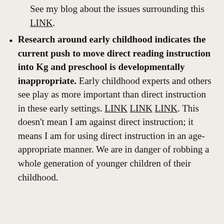See my blog about the issues surrounding this LINK.
Research around early childhood indicates the current push to move direct reading instruction into Kg and preschool is developmentally inappropriate. Early childhood experts and others see play as more important than direct instruction in these early settings. LINK LINK LINK. This doesn't mean I am against direct instruction; it means I am for using direct instruction in an age-appropriate manner. We are in danger of robbing a whole generation of younger children of their childhood.